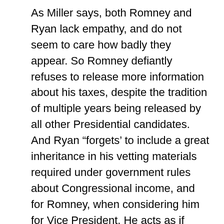As Miller says, both Romney and Ryan lack empathy, and do not seem to care how badly they appear. So Romney defiantly refuses to release more information about his taxes, despite the tradition of multiple years being released by all other Presidential candidates. And Ryan “forgets’ to include a great inheritance in his vetting materials required under government rules about Congressional income, and for Romney, when considering him for Vice President. He acts as if being worth $7 million through inheritances is something to be kept secret, while calling for cuts in Pell Grants and Food Stamps for our children, whether of college age or of younger age and needing nutrition!
These “Drawbridge” Republicans are the most selfish, greedy, heartless Presidential team in